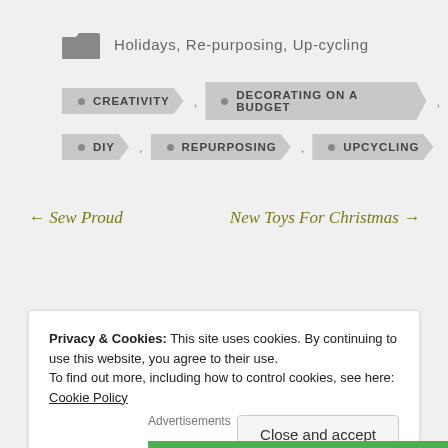Holidays, Re-purposing, Up-cycling
CREATIVITY
DECORATING ON A BUDGET
DIY
REPURPOSING
UPCYCLING
← Sew Proud
New Toys For Christmas →
Privacy & Cookies: This site uses cookies. By continuing to use this website, you agree to their use. To find out more, including how to control cookies, see here: Cookie Policy
Close and accept
Advertisements